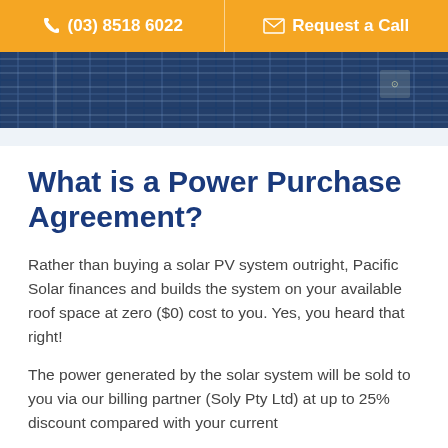(03) 8518 6022   Request a Call
[Figure (photo): Close-up photograph of solar PV panels showing dark blue photovoltaic cells with grid lines]
What is a Power Purchase Agreement?
Rather than buying a solar PV system outright, Pacific Solar finances and builds the system on your available roof space at zero ($0) cost to you. Yes, you heard that right!
The power generated by the solar system will be sold to you via our billing partner (Soly Pty Ltd) at up to 25% discount compared with your current